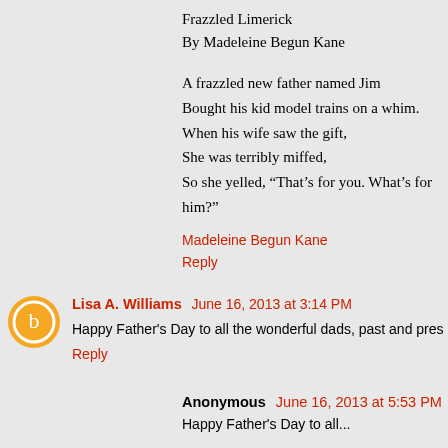Frazzled Limerick
By Madeleine Begun Kane
A frazzled new father named Jim
Bought his kid model trains on a whim.
When his wife saw the gift,
She was terribly miffed,
So she yelled, “That’s for you. What’s for him?”
Madeleine Begun Kane
Reply
Lisa A. Williams June 16, 2013 at 3:14 PM
Happy Father's Day to all the wonderful dads, past and pres...
Reply
Anonymous June 16, 2013 at 5:53 PM
Happy Father's Day to all...